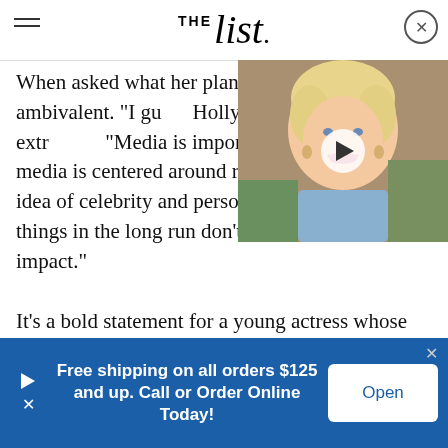THE List
When asked what her plans f... Shahidi was ambivalent. "I gu... Hollywood is seemingly extr... "Media is important, but the media is centered around red carpets and this idea of celebrity and personal cachet. All of these things in the long run don't have much of an impact."
[Figure (photo): Video thumbnail showing an elderly blonde woman smiling, with a play button overlay]
It's a bold statement for a young actress whose career is on the rise, but its also proof that Shahidi isn't really in it for the fame. It seems like that...
Free shipping on all orders $125 and up. Call or Order Online Today!